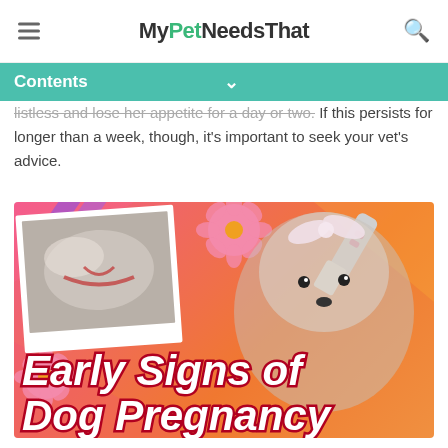MyPetNeedsThat
Contents
listless and lose her appetite for a day or two. If this persists for longer than a week, though, it’s important to seek your vet’s advice.
[Figure (illustration): Colorful promotional graphic with pink/orange background showing two dogs – a dalmatian-mix lying down and a shih-tzu with a bow – with pink gerbera daisies and a pregnancy test graphic. Bold italic red text reads 'Early Signs of Dog Pregnancy'.]